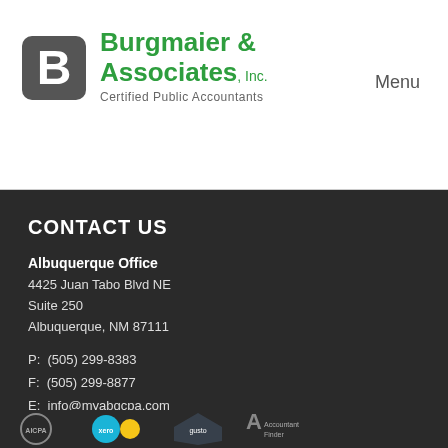Burgmaier & Associates, Inc. Certified Public Accountants
Menu
CONTACT US
Albuquerque Office
4425 Juan Tabo Blvd NE
Suite 250
Albuquerque, NM 87111
P:  (505) 299-8383
F:  (505) 299-8877
E:  info@myabqcpa.com
[Figure (logo): Facebook and LinkedIn social media icons in white square boxes]
[Figure (logo): Partner logos: AICPA, Xero, Gusto, Accountant Finder]